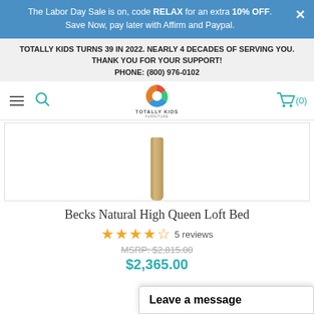The Labor Day Sale is on, code RELAX for an extra 10% OFF. Save Now, pay later with Affirm and Paypal.
TOTALLY KIDS TURNS 39 IN 2022. NEARLY 4 DECADES OF SERVING YOU. THANK YOU FOR YOUR SUPPORT! PHONE: (800) 976-0102
[Figure (logo): Totally Kids Furniture logo with colorful circular icon]
Becks Natural High Queen Loft Bed
4.5 stars, 5 reviews
MSRP: $2,815.00
$2,365.00
Leave a message